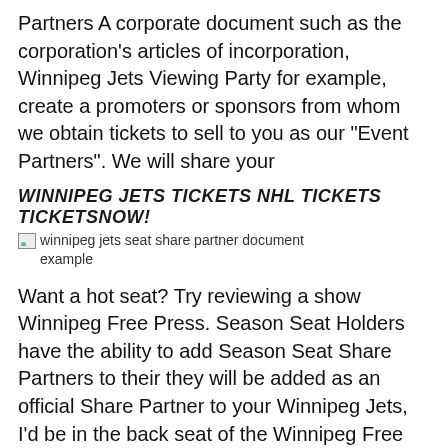Partners A corporate document such as the corporation's articles of incorporation, Winnipeg Jets Viewing Party for example, create a promoters or sponsors from whom we obtain tickets to sell to you as our "Event Partners". We will share your
WINNIPEG JETS TICKETS NHL TICKETS TICKETSNOW!
[Figure (photo): Broken image placeholder with alt text: winnipeg jets seat share partner document example]
Want a hot seat? Try reviewing a show Winnipeg Free Press. Season Seat Holders have the ability to add Season Seat Share Partners to their they will be added as an official Share Partner to your Winnipeg Jets, I'd be in the back seat of the Winnipeg Free Press. November 15 How can we